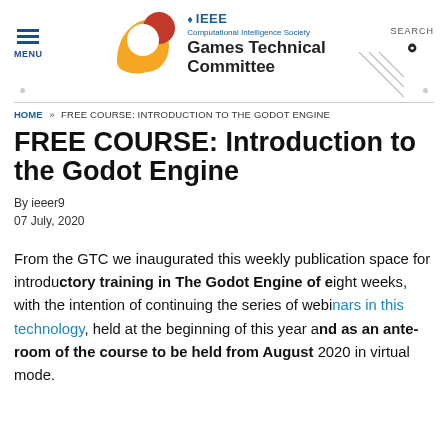MENU | IEEE Computational Intelligence Society Games Technical Committee | SEARCH
HOME » FREE COURSE: INTRODUCTION TO THE GODOT ENGINE
FREE COURSE: Introduction to the Godot Engine
By ieeer9
07 July, 2020
From the GTC we inaugurated this weekly publication space for introductory training in The Godot Engine of eight weeks, with the intention of continuing the series of webinars in this technology, held at the beginning of this year and as an ante-room of the course to be held from August 2020 in virtual mode.